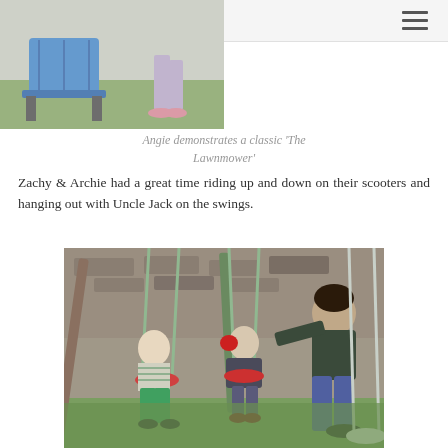[Figure (photo): Outdoor scene showing legs of a person walking on grass, with a blue folding chair visible in the background — demonstrating 'The Lawnmower' dance move]
Angie demonstrates a classic 'The Lawnmower'
Zachy & Archie had a great time riding up and down on their scooters and hanging out with Uncle Jack on the swings.
[Figure (photo): Two young children sitting on swings in a garden, with an adult man leaning over and interacting with them. There is a wooden swing set with ropes and a garden wall with stones in the background.]